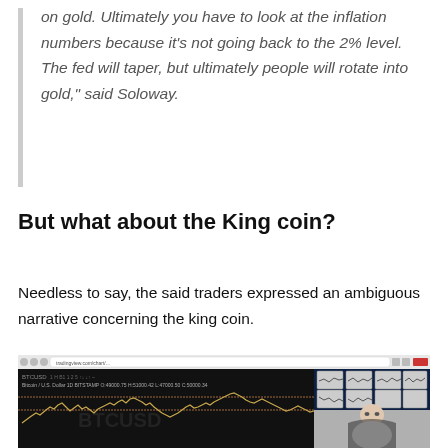on gold. Ultimately you have to look at the inflation numbers because it's not going back to the 2% level. The fed will taper, but ultimately people will rotate into gold," said Soloway.
But what about the King coin?
Needless to say, the said traders expressed an ambiguous narrative concerning the king coin.
[Figure (screenshot): Screenshot of a trading platform showing a Bitcoin/USD candlestick chart with price action, alongside a webcam view of a person sitting in front of multiple monitor screens.]